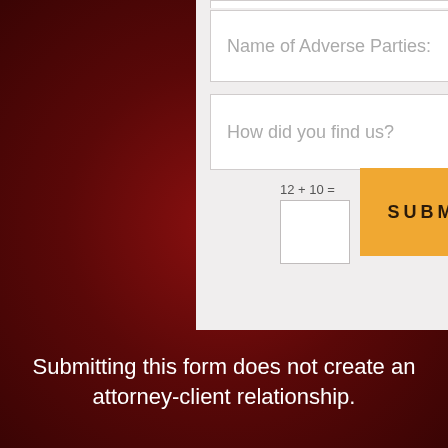[Figure (screenshot): Web form with input fields for 'Name of Adverse Parties' and 'How did you find us?', a CAPTCHA math question '12 + 10 =', an empty answer box, and a golden SUBMIT button, on a light gray background panel over a dark red background.]
Submitting this form does not create an attorney-client relationship.